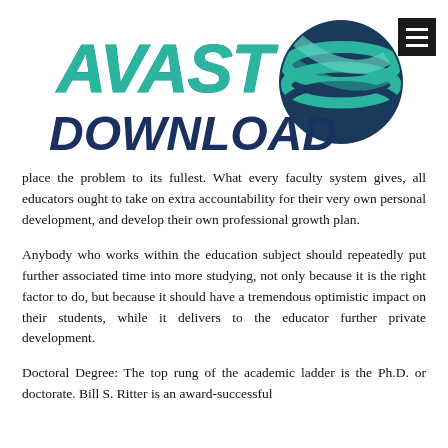[Figure (logo): AVAST DOWNLOAD logo with teal/navy stylized text and circular globe icon on the right]
place the problem to its fullest. What every faculty system gives, all educators ought to take on extra accountability for their very own personal development, and develop their own professional growth plan.
Anybody who works within the education subject should repeatedly put further associated time into more studying, not only because it is the right factor to do, but because it should have a tremendous optimistic impact on their students, while it delivers to the educator further private development.
Doctoral Degree: The top rung of the academic ladder is the Ph.D. or doctorate. Bill S. Ritter is an award-successful